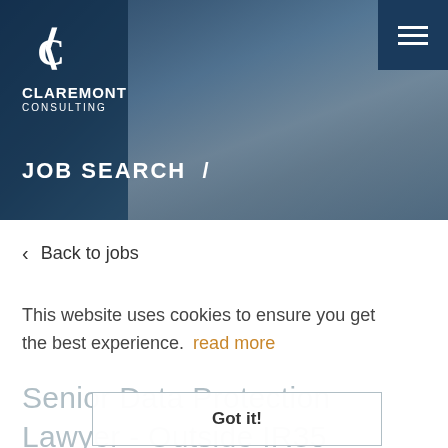[Figure (photo): Hero banner with Claremont Consulting logo and 'JOB SEARCH /' heading over a dark blue-tinted background photo of a person writing]
JOB SEARCH /
‹  Back to jobs
This website uses cookies to ensure you get the best experience.  read more
Senior Data Protection Lawyer - Outside IR35
Got it!